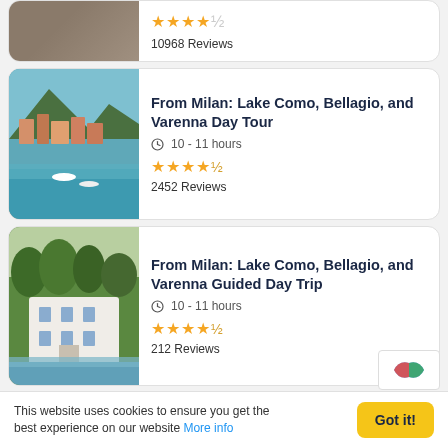[Figure (photo): Partial top card showing a stone architectural detail image, partially cropped]
10968 Reviews
From Milan: Lake Como, Bellagio, and Varenna Day Tour
10 - 11 hours
★★★★½
2452 Reviews
From Milan: Lake Como, Bellagio, and Varenna Guided Day Trip
10 - 11 hours
★★★★½
212 Reviews
This website uses cookies to ensure you get the best experience on our website More info
Got it!